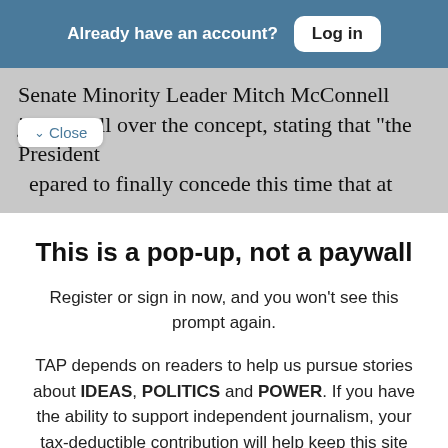Already have an account?  Log in
Senate Minority Leader Mitch McConnell jumped all over the concept, stating that "the President …epared to finally concede this time that at
✓ Close
This is a pop-up, not a paywall
Register or sign in now, and you won't see this prompt again.
TAP depends on readers to help us pursue stories about IDEAS, POLITICS and POWER. If you have the ability to support independent journalism, your tax-deductible contribution will help keep this site free
Free Newsletters  4